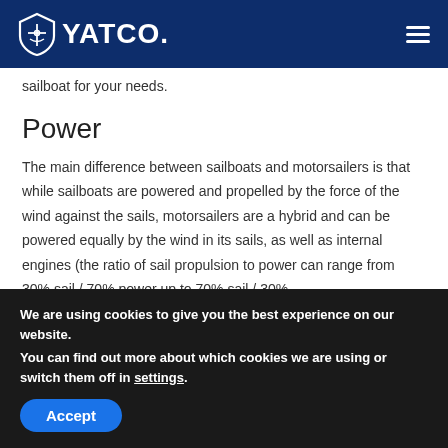YATCO
sailboat for your needs.
Power
The main difference between sailboats and motorsailers is that while sailboats are powered and propelled by the force of the wind against the sails, motorsailers are a hybrid and can be powered equally by the wind in its sails, as well as internal engines (the ratio of sail propulsion to power can range from 30% sail / 70% power up to 70% sail / 30%
We are using cookies to give you the best experience on our website.
You can find out more about which cookies we are using or switch them off in settings.
Accept